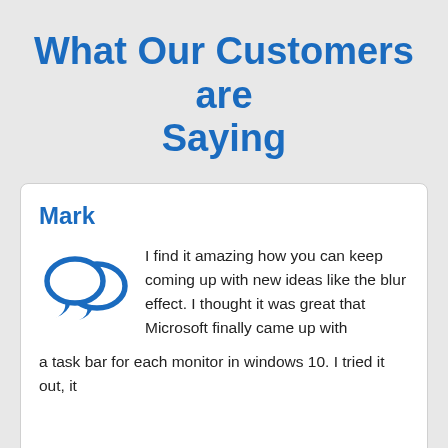What Our Customers are Saying
Mark
I find it amazing how you can keep coming up with new ideas like the blur effect. I thought it was great that Microsoft finally came up with a task bar for each monitor in windows 10. I tried it out, it
This site uses cookies. By continuing to use this website, you agree to their use. I Understand · View Terms of Service
everyone at Binary Fortress for such a great product.